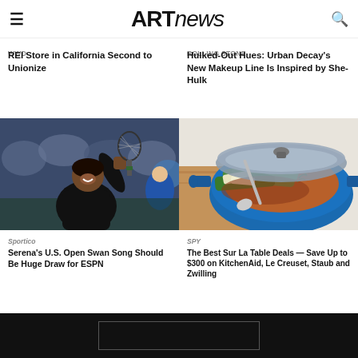ARTnews
WWD
REI Store in California Second to Unionize
Rolling Stone
Hulked-Out Hues: Urban Decay's New Makeup Line Is Inspired by She-Hulk
[Figure (photo): Serena Williams pumping fist on tennis court, wearing black outfit with purple headband]
Sportico
Serena's U.S. Open Swan Song Should Be Huge Draw for ESPN
[Figure (photo): Blue Le Creuset braiser with braised leeks and vegetables, lid partially open, on wooden board]
SPY
The Best Sur La Table Deals — Save Up to $300 on KitchenAid, Le Creuset, Staub and Zwilling